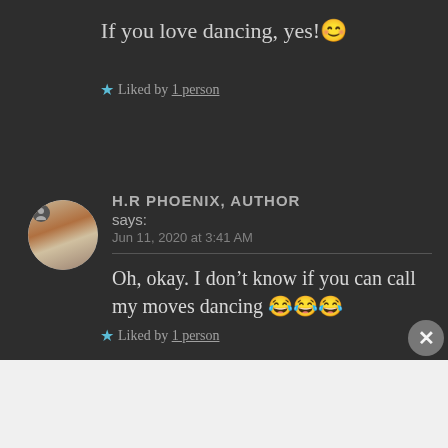If you love dancing, yes! 😊
★ Liked by 1 person
H.R PHOENIX, AUTHOR says: Jun 11, 2020 at 3:41 AM
Oh, okay. I don't know if you can call my moves dancing 😂😂😂
★ Liked by 1 person
[Figure (screenshot): WordPress advertisement banner: Simplified pricing for everything you need. WordPress.com]
Advertisements